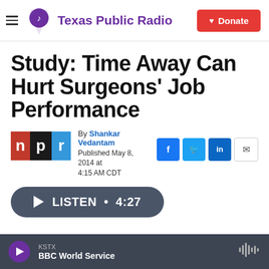Texas Public Radio | Donate
Study: Time Away Can Hurt Surgeons' Job Performance
By Shankar Vedantam
Published May 8, 2014 at 4:15 AM CDT
[Figure (other): NPR logo (red, black, blue squares with letters n, p, r)]
[Figure (other): Social sharing icons: Facebook, Twitter, LinkedIn, Email]
[Figure (other): Listen audio player button showing LISTEN • 4:27]
KSTX
BBC World Service